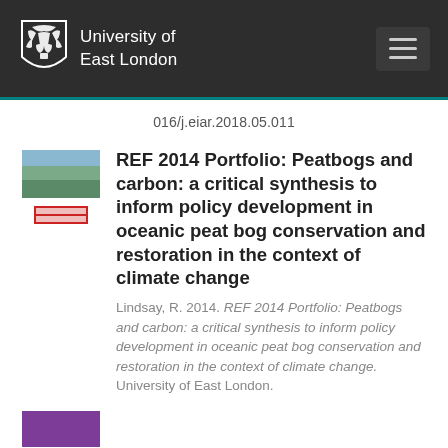University of East London
016/j.eiar.2018.05.011
REF 2014 Portfolio: Peatbogs and carbon: a critical synthesis to inform policy development in oceanic peat bog conservation and restoration in the context of climate change
Lindsay, R. 2014. REF 2014 Portfolio: Peatbogs and carbon: a critical synthesis to inform policy development in oceanic peat bog conservation and restoration in the context of climate change. University of East London.